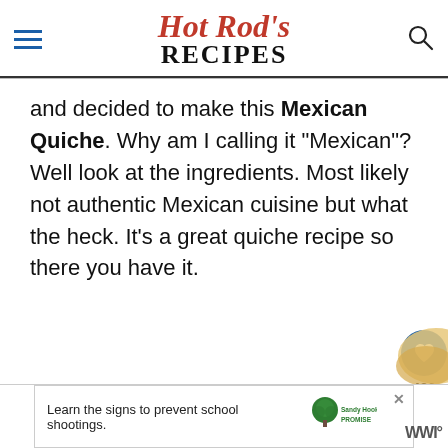Hot Rod's RECIPES
and decided to make this Mexican Quiche. Why am I calling it "Mexican"? Well look at the ingredients. Most likely not authentic Mexican cuisine but what the heck. It's a great quiche recipe so there you have it.
[Figure (screenshot): Advertisement banner: 'Learn the signs to prevent school shootings.' with Sandy Hook Promise logo and tree graphic]